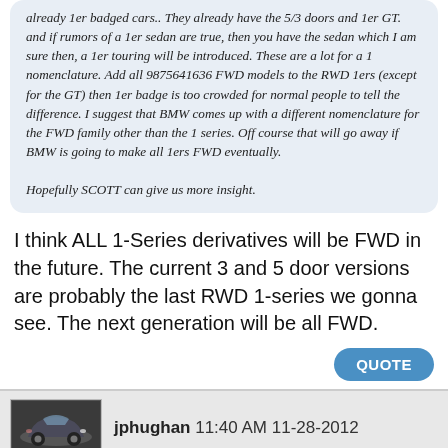already 1er badged cars.. They already have the 5/3 doors and 1er GT. and if rumors of a 1er sedan are true, then you have the sedan which I am sure then, a 1er touring will be introduced. These are a lot for a 1 nomenclature. Add all 9875641636 FWD models to the RWD 1ers (except for the GT) then 1er badge is too crowded for normal people to tell the difference. I suggest that BMW comes up with a different nomenclature for the FWD family other than the 1 series. Off course that will go away if BMW is going to make all 1ers FWD eventually.

Hopefully SCOTT can give us more insight.
I think ALL 1-Series derivatives will be FWD in the future. The current 3 and 5 door versions are probably the last RWD 1-series we gonna see. The next generation will be all FWD.
QUOTE
jphughan 11:40 AM 11-28-2012